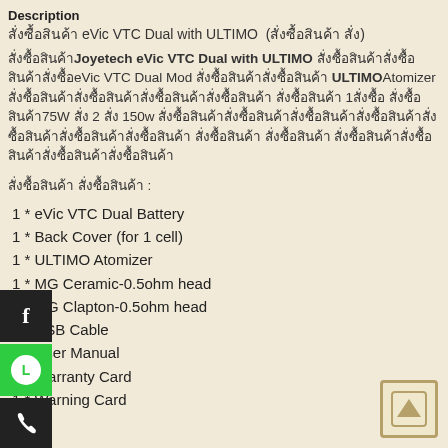Description
สั่งซื้อสินค้า eVic VTC Dual with ULTIMO  (สั่งซื้อสินค้า ด้วย)
สั่งซื้อสินค้าJoyetech eVic VTC Dual with ULTIMO สั่งซื้อสินค้าสั่งซื้อสินค้าสั่งซื้อeVic VTC Dual Mod สั่งซื้อสินค้าสั่งซื้อสินค้า ULTIMOAtomizer สั่งซื้อสินค้าสั่งซื้อสินค้าสั่งซื้อสินค้าสั่งซื้อสินค้า สั่งซื้อสินค้า 1สั่งซื้อ สั่งซื้อสินค้า75W สั่ง 2 สั่ง 150w สั่งซื้อสินค้าสั่งซื้อสินค้าสั่งซื้อสินค้าสั่งซื้อสินค้าสั่งซื้อสินค้าสั่งซื้อสินค้าสั่งซื้อสินค้า สั่งซื้อสินค้า สั่งซื้อสินค้า สั่งซื้อสินค้าสั่งซื้อสินค้าสั่งซื้อสินค้าสั่งซื้อสินค้า
สั่งซื้อสินค้า สั่งซื้อสินค้า :
1 * eVic VTC Dual Battery
1 * Back Cover (for 1 cell)
1 * ULTIMO Atomizer
1 * MG Ceramic-0.5ohm head
1 * MG Clapton-0.5ohm head
1 * USB Cable
2 * User Manual
1 * Warranty Card
1 * Warning Card